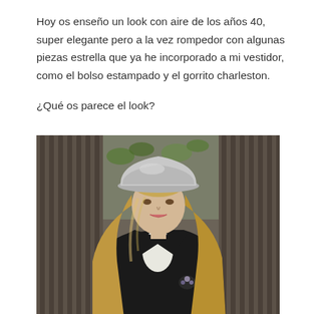Hoy os enseño un look con aire de los años 40, super elegante pero a la vez rompedor con algunas piezas estrella que ya he incorporado a mi vestidor, como el bolso estampado y el gorrito charleston.
¿Qué os parece el look?
[Figure (photo): A woman wearing a grey bowler/cloche hat and a black jacket with a floral brooch, with wavy blonde hair, standing in front of an ornate metal gate with greenery in the background.]